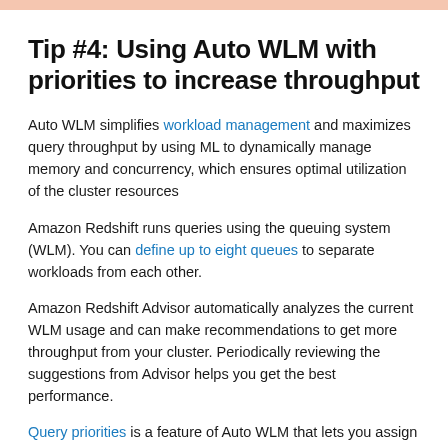Tip #4: Using Auto WLM with priorities to increase throughput
Auto WLM simplifies workload management and maximizes query throughput by using ML to dynamically manage memory and concurrency, which ensures optimal utilization of the cluster resources
Amazon Redshift runs queries using the queuing system (WLM). You can define up to eight queues to separate workloads from each other.
Amazon Redshift Advisor automatically analyzes the current WLM usage and can make recommendations to get more throughput from your cluster. Periodically reviewing the suggestions from Advisor helps you get the best performance.
Query priorities is a feature of Auto WLM that lets you assign